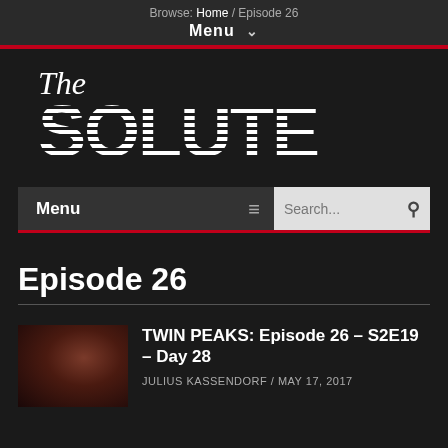Browse: Home / Episode 26
Menu ˅
[Figure (logo): The Solute website logo with horizontal stripe effect on SOLUTE text]
Menu  ≡  Search...
Episode 26
TWIN PEAKS: Episode 26 – S2E19 – Day 28
JULIUS KASSENDORF / MAY 17, 2017